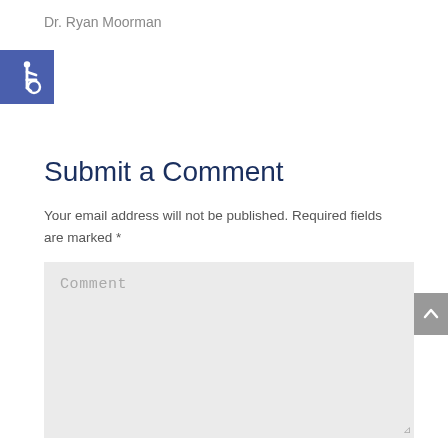Dr. Ryan Moorman
[Figure (illustration): Wheelchair accessibility icon: white figure in wheelchair on blue square background]
Submit a Comment
Your email address will not be published. Required fields are marked *
[Figure (screenshot): Comment text area input box with light gray background and placeholder text 'Comment']